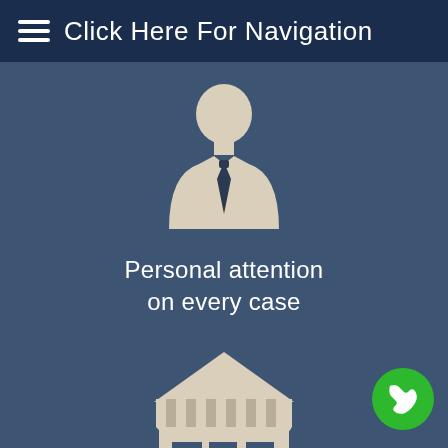Click Here For Navigation
[Figure (illustration): Business person / lawyer icon in beige silhouette with tie, on dark blue background]
Personal attention on every case
[Figure (illustration): Local shop / store front icon in beige silhouette with awning, on dark blue background]
Local Representation
[Figure (illustration): Green circular phone call button in bottom right corner]